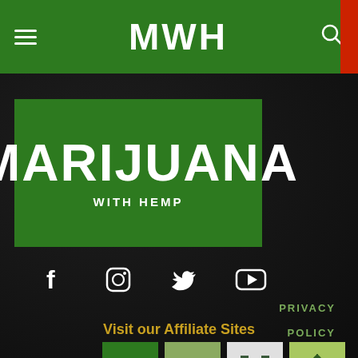MWH (Marijuana With Hemp) - Navigation bar
[Figure (logo): Green banner logo reading MARIJUANA WITH HEMP in white bold text on dark green background]
[Figure (infographic): Social media icons row: Facebook, Instagram, Twitter, YouTube in white on dark background]
Visit our Affiliate Sites
[Figure (infographic): Four affiliate site logos: PP (green), Hal-Sup (olive green with hemp leaf), HH (gray), Weed Deep Dive (light green with hemp leaf)]
PRIVACY POLICY